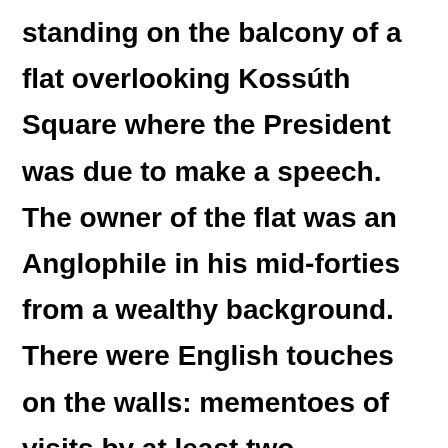standing on the balcony of a flat overlooking Kossúth Square where the President was due to make a speech. The owner of the flat was an Anglophile in his mid-forties from a wealthy background. There were English touches on the walls: mementoes of visits by at least two generations of the family. From his balcony they looked down on the